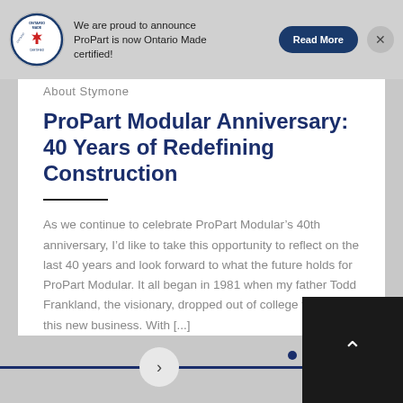We are proud to announce ProPart is now Ontario Made certified! Read More
About Stymone
ProPart Modular Anniversary: 40 Years of Redefining Construction
As we continue to celebrate ProPart Modular’s 40th anniversary, I’d like to take this opportunity to reflect on the last 40 years and look forward to what the future holds for ProPart Modular. It all began in 1981 when my father Todd Frankland, the visionary, dropped out of college to pursue this new business. With [...]